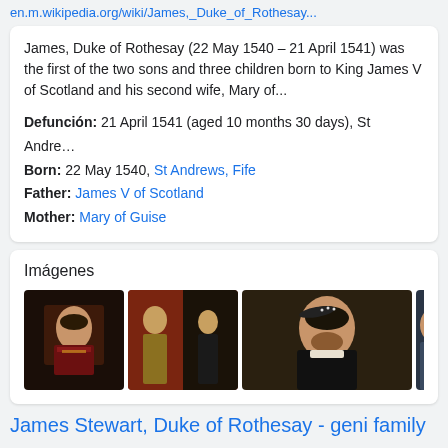en.m.wikipedia.org/wiki/James,_Duke_of_Rothesay...
James, Duke of Rothesay (22 May 1540 – 21 April 1541) was the first of the two sons and three children born to King James V of Scotland and his second wife, Mary of...
Defunción: 21 April 1541 (aged 10 months 30 days), St Andre…
Born: 22 May 1540, St Andrews, Fife
Father: James V of Scotland
Mother: Mary of Guise
Imágenes
[Figure (photo): Four historical portrait paintings shown in a row: a medieval king portrait, two figures in religious/court dress, a bearded man in black Renaissance attire with feathered hat, and a partial portrait of another figure.]
James Stewart, Duke of Rothesay - geni family